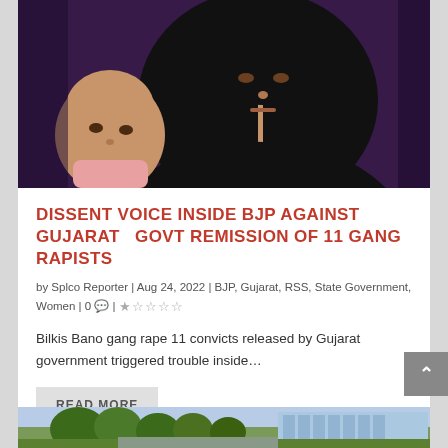[Figure (photo): A woman in a black hijab holding a baby — close-up portrait photograph]
DISSENT VOICE INSIDE BJP AGAINST GUJARAT   GOVT REMISSION OF 11 GANG RAPISTS
by Splco Reporter | Aug 24, 2022 | BJP, Gujarat, RSS, State Government, Women | 0 💬 | ★☆☆☆☆
Bilkis Bano gang rape 11 convicts released by Gujarat government triggered trouble inside…
READ MORE
[Figure (photo): Outdoor scene with trees and a modern glass building in the background]